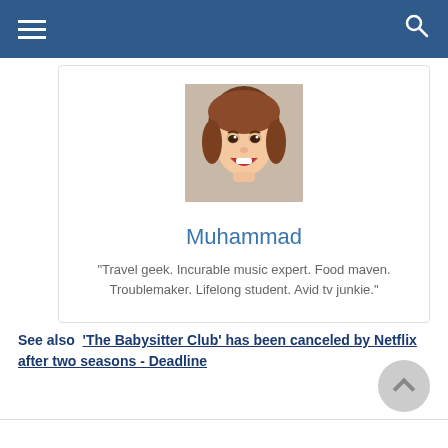Navigation bar with hamburger menu and search icon
[Figure (photo): Profile photo of a young woman with brown hair, smiling with mouth open, looking slightly upward]
Muhammad
“Travel geek. Incurable music expert. Food maven. Troublemaker. Lifelong student. Avid tv junkie.”
See also  ‘The Babysitter Club’ has been canceled by Netflix after two seasons - Deadline